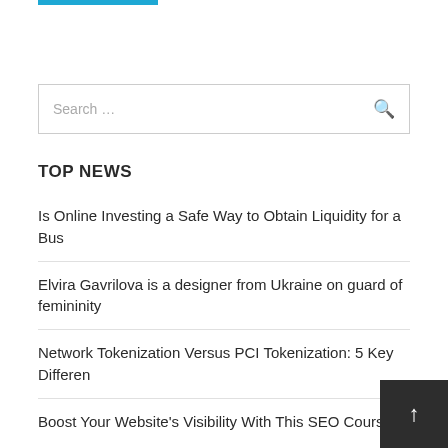[Figure (other): Blue horizontal bar/stripe at the top left, part of a site header logo or banner]
[Figure (other): Search box with placeholder text 'Search ...' and a magnifying glass icon on the right]
TOP NEWS
Is Online Investing a Safe Way to Obtain Liquidity for a Bus
Elvira Gavrilova is a designer from Ukraine on guard of femininity
Network Tokenization Versus PCI Tokenization: 5 Key Differen
Boost Your Website's Visibility With This SEO Course
[Figure (other): Dark grey square scroll-to-top button with a white upward arrow in the bottom right corner]